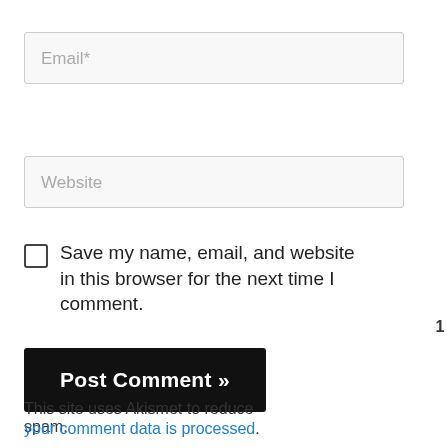Email*
Website
Save my name, email, and website in this browser for the next time I comment.
Post Comment »
This site uses Akismet to reduce spam.
your comment data is processed.
[Figure (other): Heart/like floating button with count of 1 and a share button below]
[Figure (other): What's Next badge with circular logo image and text 'Where to Find Nurse...']